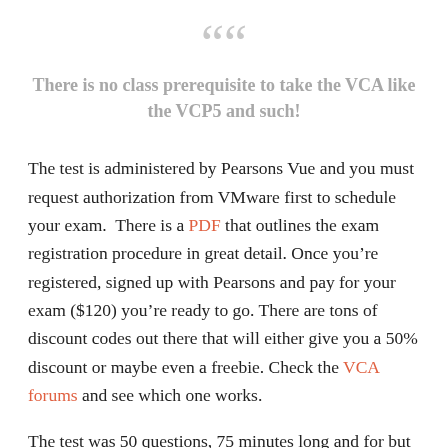““
There is no class prerequisite to take the VCA like the VCP5 and such!
The test is administered by Pearsons Vue and you must request authorization from VMware first to schedule your exam. There is a PDF that outlines the exam registration procedure in great detail. Once you’re registered, signed up with Pearsons and pay for your exam ($120) you’re ready to go. There are tons of discount codes out there that will either give you a 50% discount or maybe even a freebie. Check the VCA forums and see which one works.
The test was 50 questions, 75 minutes long and for but a few questions, they come straight from the e-learning